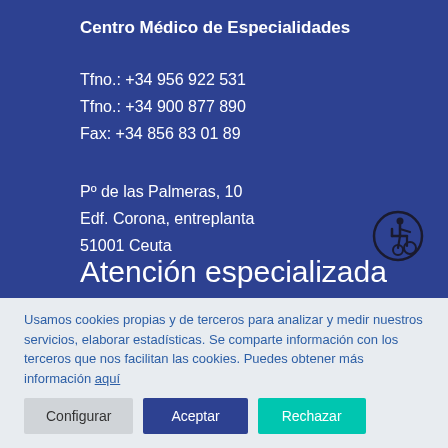Centro Médico de Especialidades
Tfno.: +34 956 922 531
Tfno.: +34 900 877 890
Fax: +34 856 83 01 89
Pº de las Palmeras, 10
Edf. Corona, entreplanta
51001 Ceuta
[Figure (illustration): Wheelchair accessibility icon — person in wheelchair inside a circle]
Atención especializada
Usamos cookies propias y de terceros para analizar y medir nuestros servicios, elaborar estadísticas. Se comparte información con los terceros que nos facilitan las cookies. Puedes obtener más información aquí
Configurar   Aceptar   Rechazar